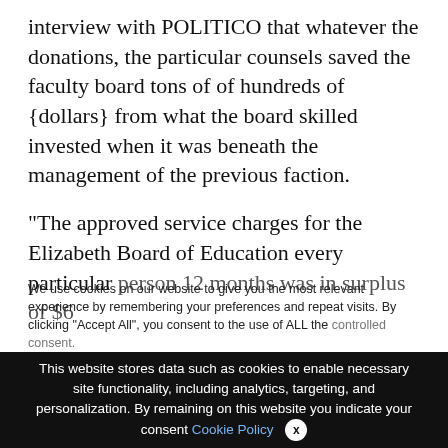interview with POLITICO that whatever the donations, the particular counsels saved the faculty board tons of of hundreds of {dollars} from what the board skilled invested when it was beneath the management of the previous faction.
“The approved service charges for the Elizabeth Board of Education every particular person 12 months was in surplus of $6
We use cookies on our website to give you the most relevant experience by remembering your preferences and repeat visits. By clicking “Accept All”, you consent to the use of ALL the controlled consent.
This website stores data such as cookies to enable necessary site functionality, including analytics, targeting, and personalization. By remaining on this website you indicate your consent Cookie Policy